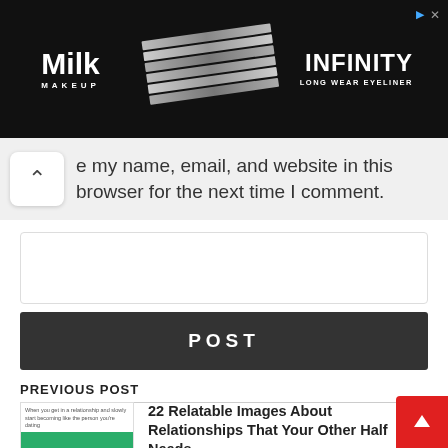[Figure (screenshot): Milk Makeup advertisement banner for Infinity Long Wear Eyeliner, black background with eyeliner pencils and brand logo]
e my name, email, and website in this browser for the next time I comment.
Write a comment *
POST
PREVIOUS POST
[Figure (photo): Thumbnail image showing two gummy bear figures (yellow and pink) on a green background with overlaid text 'When you get in a relationship and slowly start becoming like the person you're dating']
22 Relatable Images About Relationships That Your Other Half Needs...
by Patrick Bennet